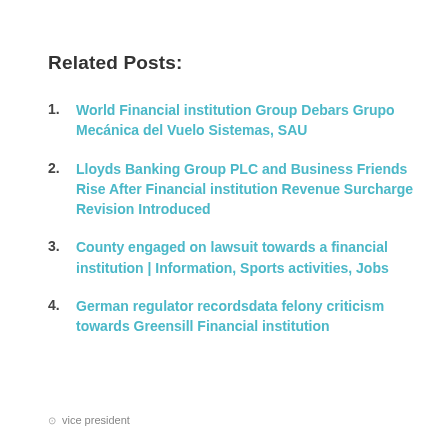Related Posts:
World Financial institution Group Debars Grupo Mecánica del Vuelo Sistemas, SAU
Lloyds Banking Group PLC and Business Friends Rise After Financial institution Revenue Surcharge Revision Introduced
County engaged on lawsuit towards a financial institution | Information, Sports activities, Jobs
German regulator recordsdata felony criticism towards Greensill Financial institution
⊙  vice president